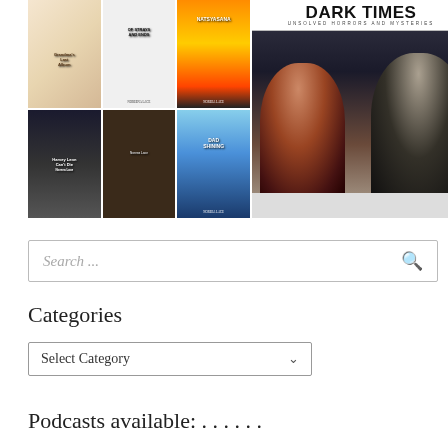[Figure (photo): A collage of book covers (6 books: Grandma's Last Album, Of Strays and Ends, Natsyasana, Harvey Leon Can't Die, a typewriter image, Dad Shining) on the left, and a Dark Times: Unsolved Horrors and Mysteries podcast thumbnail on the right showing two people in conversation.]
Search ...
Categories
Select Category
Podcasts available: . . . . . .